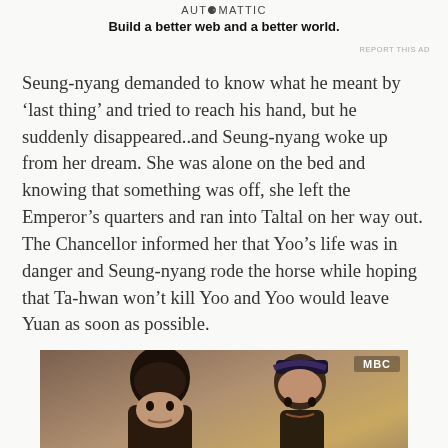AUTOMATTIC
Build a better web and a better world.
REPORT THIS AD
Seung-nyang demanded to know what he meant by ‘last thing’ and tried to reach his hand, but he suddenly disappeared..and Seung-nyang woke up from her dream. She was alone on the bed and knowing that something was off, she left the Emperor’s quarters and ran into Taltal on her way out. The Chancellor informed her that Yoo’s life was in danger and Seung-nyang rode the horse while hoping that Ta-hwan won’t kill Yoo and Yoo would leave Yuan as soon as possible.
[Figure (photo): Two male actors from a Korean historical drama (likely Empress Ki on MBC). Left figure has dark hair, right figure wears a decorative headband. MBC logo visible in top right corner.]